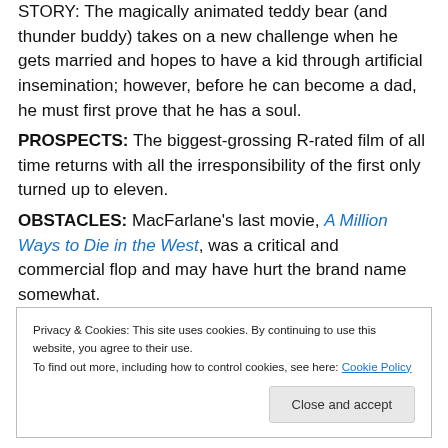STORY: The magically animated teddy bear (and thunder buddy) takes on a new challenge when he gets married and hopes to have a kid through artificial insemination; however, before he can become a dad, he must first prove that he has a soul. PROSPECTS: The biggest-grossing R-rated film of all time returns with all the irresponsibility of the first only turned up to eleven. OBSTACLES: MacFarlane's last movie, A Million Ways to Die in the West, was a critical and commercial flop and may have hurt the brand name somewhat.
Privacy & Cookies: This site uses cookies. By continuing to use this website, you agree to their use. To find out more, including how to control cookies, see here: Cookie Policy